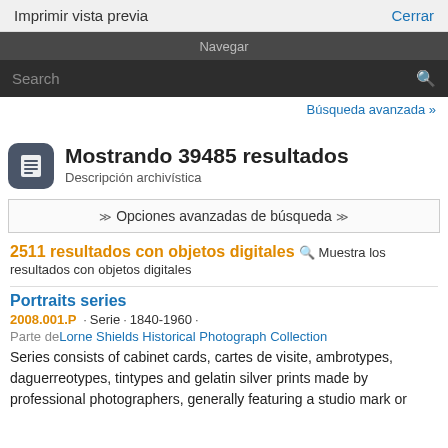Imprimir vista previa   Cerrar
Navegar
Search
Búsqueda avanzada »
Mostrando 39485 resultados
Descripción archivística
⋙ Opciones avanzadas de búsqueda ⋙
2511 resultados con objetos digitales Q Muestra los resultados con objetos digitales
Portraits series
2008.001.P · Serie · 1840-1960 ·
Parte de Lorne Shields Historical Photograph Collection
Series consists of cabinet cards, cartes de visite, ambrotypes, daguerreotypes, tintypes and gelatin silver prints made by professional photographers, generally featuring a studio mark or